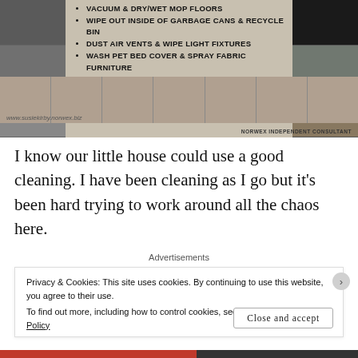[Figure (infographic): A cleaning infographic with bullet points listing cleaning tasks, surrounded by photos of household areas. Website watermark: www.susiekirby.norwex.biz and NORWEX INDEPENDENT CONSULTANT label.]
I know our little house could use a good cleaning. I have been cleaning as I go but it's been hard trying to work around all the chaos here.
Advertisements
Privacy & Cookies: This site uses cookies. By continuing to use this website, you agree to their use.
To find out more, including how to control cookies, see here: Our Cookie Policy